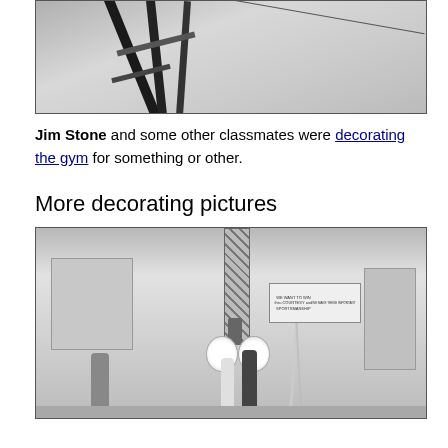[Figure (photo): Close-up black and white photo of what appears to be a ladder or scaffolding structure in a gym, with diagonal beams and a wire visible against a light background.]
Jim Stone and some other classmates were decorating the gym for something or other.
More decorating pictures
[Figure (photo): Black and white photo of the interior of a school gymnasium. A person stands on a tall metal tower/scaffold near center. Two large white globes hang from the structure. Several students stand on the gym floor below. A sign on the right wall reads 'WE WANT TO WIN thru COURTESY and SPORTSMANSHIP'. Doors are visible on the left and right walls.]